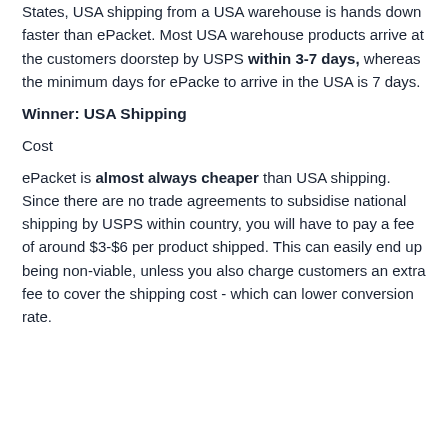States, USA shipping from a USA warehouse is hands down faster than ePacket. Most USA warehouse products arrive at the customers doorstep by USPS within 3-7 days, whereas the minimum days for ePacke to arrive in the USA is 7 days.
Winner: USA Shipping
Cost
ePacket is almost always cheaper than USA shipping. Since there are no trade agreements to subsidise national shipping by USPS within country, you will have to pay a fee of around $3-$6 per product shipped. This can easily end up being non-viable, unless you also charge customers an extra fee to cover the shipping cost - which can lower conversion rate.